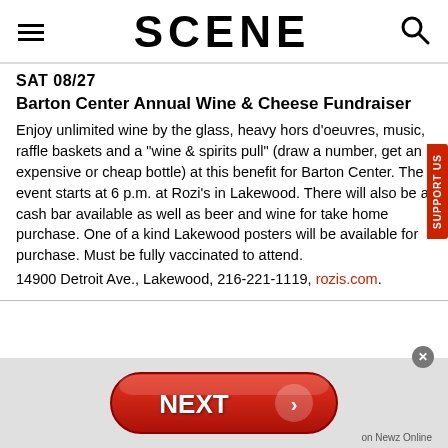SCENE
SAT 08/27
Barton Center Annual Wine & Cheese Fundraiser
Enjoy unlimited wine by the glass, heavy hors d'oeuvres, music, raffle baskets and a "wine & spirits pull" (draw a number, get an expensive or cheap bottle) at this benefit for Barton Center. The event starts at 6 p.m. at Rozi's in Lakewood. There will also be a cash bar available as well as beer and wine for take home purchase. One of a kind Lakewood posters will be available for purchase. Must be fully vaccinated to attend.
14900 Detroit Ave., Lakewood, 216-221-1119, rozis.com.
[Figure (other): NEXT button advertisement with red rounded pill shape and arrow, labeled 'on Newz Online']